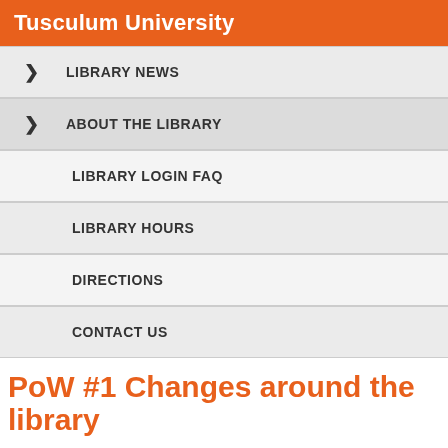Tusculum University
LIBRARY NEWS
ABOUT THE LIBRARY
LIBRARY LOGIN FAQ
LIBRARY HOURS
DIRECTIONS
CONTACT US
PoW #1 Changes around the library
BY CRYSTAL JOHNSON ON AUGUST 18, 2014